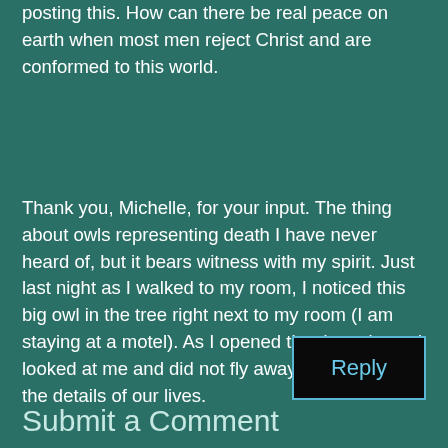posting this. How can there be real peace on earth when most men reject Christ and are conformed to this world.
Thank you, Michelle, for your input. The thing about owls representing death I have never heard of, but it bears witness with my spirit. Just last night as I walked to my room, I noticed this big owl in the tree right next to my room (I am staying at a motel). As I opened the door, the owl looked at me and did not fly away. The Lord is in the details of our lives.
Reply
Submit a Comment